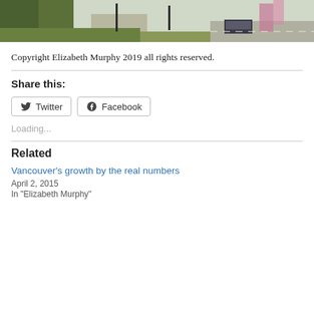[Figure (photo): Street scene with trees, a pathway, parked cars, and a road with a vehicle driving.]
Copyright Elizabeth Murphy 2019 all rights reserved.
Share this:
Twitter  Facebook
Loading...
Related
Vancouver's growth by the real numbers
April 2, 2015
In "Elizabeth Murphy"